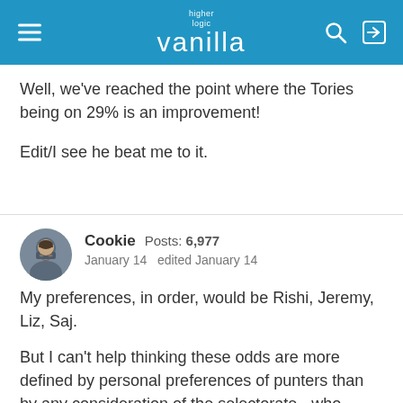higher logic vanilla
Well, we've reached the point where the Tories being on 29% is an improvement!

Edit/I see he beat me to it.
Cookie  Posts: 6,977  January 14  edited January 14
My preferences, in order, would be Rishi, Jeremy, Liz, Saj.

But I can't help thinking these odds are more defined by personal preferences of punters than by any consideration of the selectorate - who should it be, rather than who will it be.